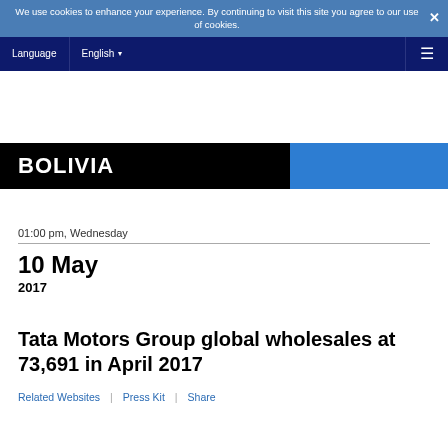We use cookies to enhance your experience. By continuing to visit this site you agree to our use of cookies.
Language | English ≡
BOLIVIA
01:00 pm, Wednesday
10 May
2017
Tata Motors Group global wholesales at 73,691 in April 2017
Related Websites | Press Kit | Share